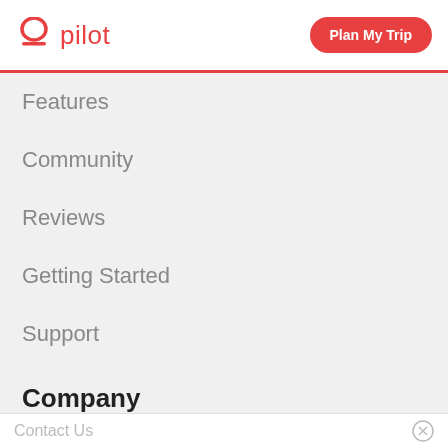pilot | Plan My Trip
Features
Community
Reviews
Getting Started
Support
Company
Contact Us